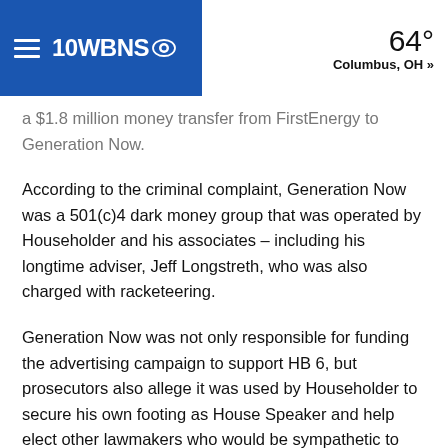10WBNS CBS — 64° Columbus, OH »
a $1.8 million money transfer from FirstEnergy to Generation Now.
According to the criminal complaint, Generation Now was a 501(c)4 dark money group that was operated by Householder and his associates – including his longtime adviser, Jeff Longstreth, who was also charged with racketeering.
Generation Now was not only responsible for funding the advertising campaign to support HB 6, but prosecutors also allege it was used by Householder to secure his own footing as House Speaker and help elect other lawmakers who would be sympathetic to the cause.
The $1.8 million payment, which was filed in FirstEnergy Solutions bankruptcy filings, was sent to Generation Now on July 5, 2019.